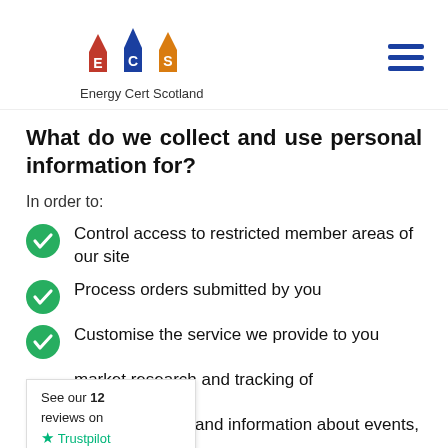[Figure (logo): Energy Cert Scotland logo with three house silhouettes in red, blue, and orange with letters E, C, S, and text 'Energy Cert Scotland' below]
What do we collect and use personal information for?
In order to:
Control access to restricted member areas of our site
Process orders submitted by you
Customise the service we provide to you
market research and tracking of [continued]
Send you news and information about events,
[Figure (other): Trustpilot badge showing 'See our 12 reviews on Trustpilot' with green star]